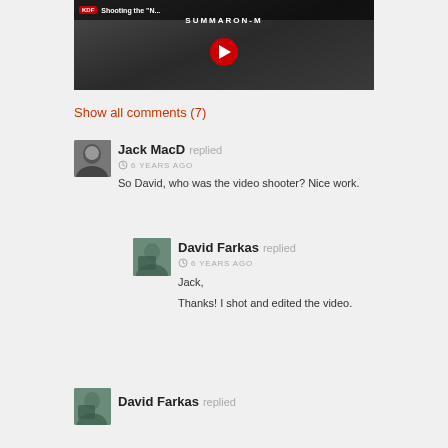[Figure (screenshot): YouTube video thumbnail showing 'Shooting the N... SUMMARON-M' with KDF logo, play button, and camera on bed background]
Show all comments (7)
[Figure (photo): Avatar of Jack MacD - black and white portrait photo]
Jack MacD replied
6 YEARS AGO
So David, who was the video shooter? Nice work.
[Figure (photo): Avatar of David Farkas - person with backpack outdoors]
David Farkas replied
6 YEARS AGO
Jack,
Thanks! I shot and edited the video.
[Figure (photo): Avatar of David Farkas - person with backpack outdoors]
David Farkas replied